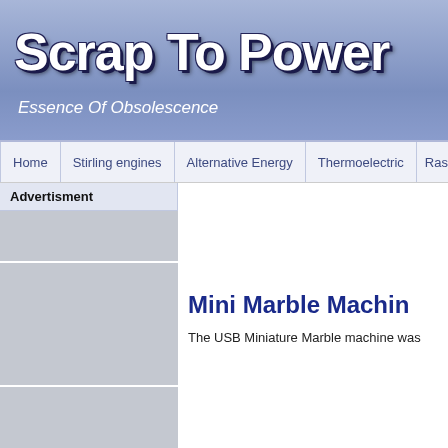Scrap To Power
Essence Of Obsolescence
Home | Stirling engines | Alternative Energy | Thermoelectric | Ras
Advertisment
[Figure (other): Advertisement placeholder block 1]
[Figure (other): Advertisement placeholder block 2]
[Figure (other): Advertisement placeholder block 3]
Mini Marble Machin
The USB Miniature Marble machine was